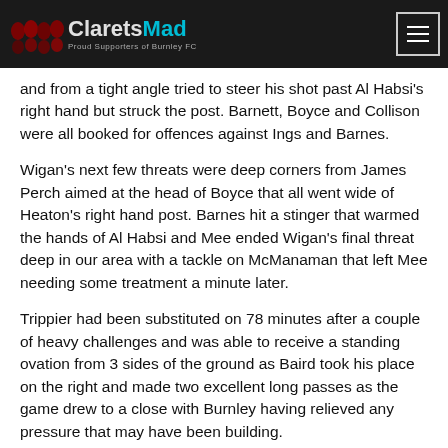ClaretsMad - Proud Supporters of Burnley FC
and from a tight angle tried to steer his shot past Al Habsi's right hand but struck the post. Barnett, Boyce and Collison were all booked for offences against Ings and Barnes.
Wigan's next few threats were deep corners from James Perch aimed at the head of Boyce that all went wide of Heaton's right hand post. Barnes hit a stinger that warmed the hands of Al Habsi and Mee ended Wigan's final threat deep in our area with a tackle on McManaman that left Mee needing some treatment a minute later.
Trippier had been substituted on 78 minutes after a couple of heavy challenges and was able to receive a standing ovation from 3 sides of the ground as Baird took his place on the right and made two excellent long passes as the game drew to a close with Burnley having relieved any pressure that may have been building.